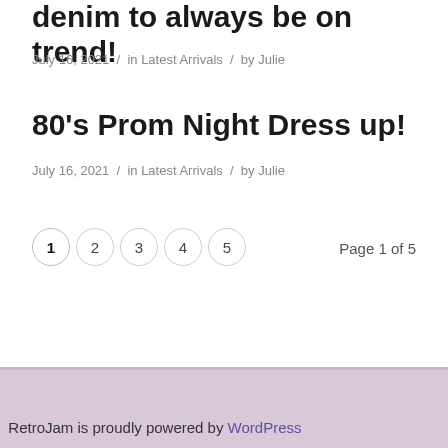denim to always be on trend!
July 16, 2021  /  in Latest Arrivals  /  by Julie
80's Prom Night Dress up!
July 16, 2021  /  in Latest Arrivals  /  by Julie
1  2  3  4  5   Page 1 of 5
RetroJam is proudly powered by WordPress